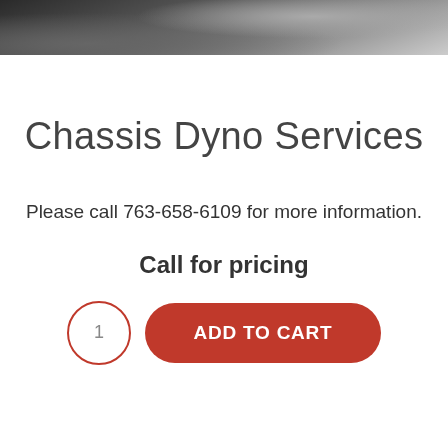[Figure (photo): Dark automotive/mechanical photo showing a metallic surface, likely a vehicle component on a dark floor background. Only the bottom portion of the image is visible as a strip at the top of the page.]
Chassis Dyno Services
Please call 763-658-6109 for more information.
Call for pricing